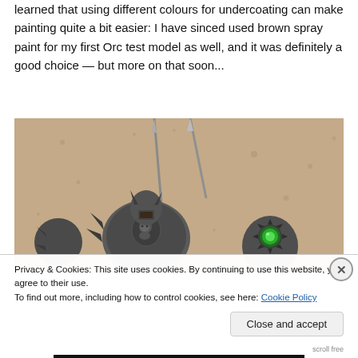learned that using different colours for undercoating can make painting quite a bit easier: I have sinced used brown spray paint for my first Orc test model as well, and it was definitely a good choice — but more on that soon...
[Figure (photo): Close-up photo of two painted Warhammer/miniature figures — armored warrior characters with dark metallic armor and spikes, one with green glowing eye gem, set against a sandy/beige blurred background.]
Privacy & Cookies: This site uses cookies. By continuing to use this website, you agree to their use.
To find out more, including how to control cookies, see here: Cookie Policy
Close and accept